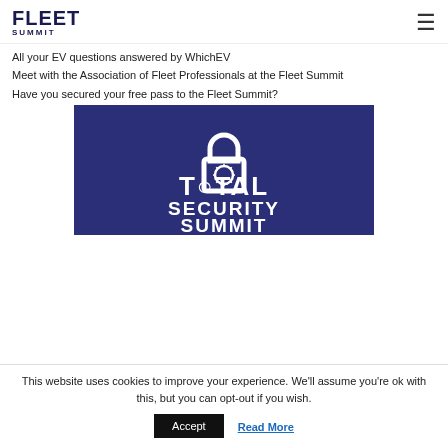FLEET SUMMIT
All your EV questions answered by WhichEV
Meet with the Association of Fleet Professionals at the Fleet Summit
Have you secured your free pass to the Fleet Summit?
[Figure (logo): Total Security Summit logo — dark blue/navy background with a padlock icon and bold white text reading TOTAL SECURITY SUMMIT]
This website uses cookies to improve your experience. We'll assume you're ok with this, but you can opt-out if you wish.
Accept  Read More